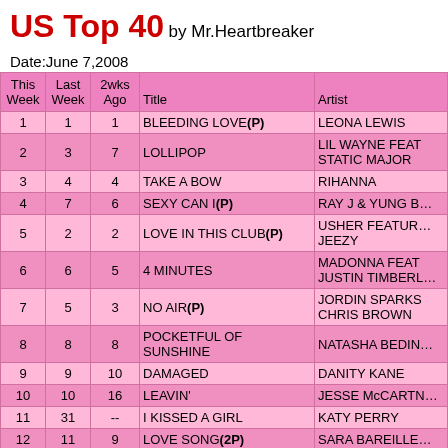US Top 40 by Mr.Heartbreaker
Date:June 7,2008
| This Week | Last Week | 2wks Ago | Title | Artist |
| --- | --- | --- | --- | --- |
| 1 | 1 | 1 | BLEEDING LOVE(P) | LEONA LEWIS |
| 2 | 3 | 7 | LOLLIPOP | LIL WAYNE FEAT STATIC MAJOR |
| 3 | 4 | 4 | TAKE A BOW | RIHANNA |
| 4 | 7 | 6 | SEXY CAN I(P) | RAY J & YUNG B… |
| 5 | 2 | 2 | LOVE IN THIS CLUB(P) | USHER FEATUR… JEEZY |
| 6 | 6 | 5 | 4 MINUTES | MADONNA FEAT JUSTIN TIMBERL… |
| 7 | 5 | 3 | NO AIR(P) | JORDIN SPARKS CHRIS BROWN |
| 8 | 8 | 8 | POCKETFUL OF SUNSHINE | NATASHA BEDIN… |
| 9 | 9 | 10 | DAMAGED | DANITY KANE |
| 10 | 10 | 16 | LEAVIN' | JESSE McCARTN… |
| 11 | 31 | -- | I KISSED A GIRL | KATY PERRY |
| 12 | 11 | 9 | LOVE SONG(2P) | SARA BAREILLE… |